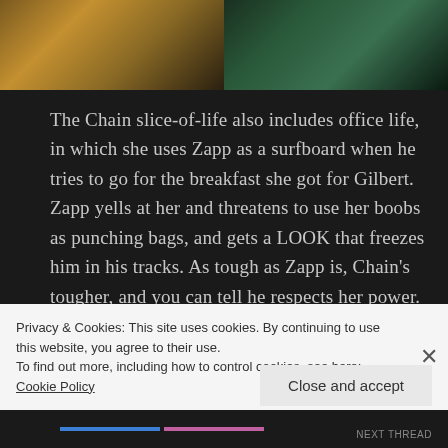[Figure (photo): Two side-by-side screenshots: left shows a warm golden-toned interior scene, right shows a dark green-toned scene with figures]
The Chain slice-of-life also includes office life, in which she uses Zapp as a surfboard when he tries to go for the breakfast she got for Gilbert. Zapp yells at her and threatens to use her boobs as punching bags, and gets a LOOK that freezes him in his tracks. As tough as Zapp is, Chain's tougher, and you can tell he respects her power.
The Werewolves are suddenly pressed into service
Privacy & Cookies: This site uses cookies. By continuing to use this website, you agree to their use.
To find out more, including how to control cookies, see here: Cookie Policy
Close and accept